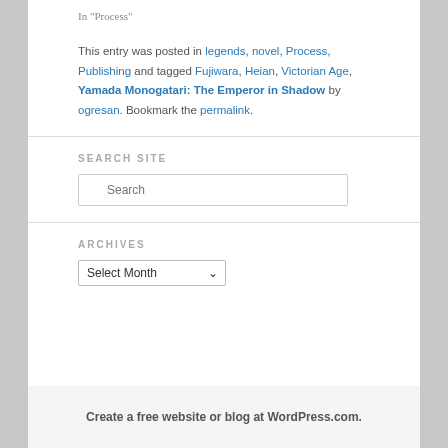In "Process"
This entry was posted in legends, novel, Process, Publishing and tagged Fujiwara, Heian, Victorian Age, Yamada Monogatari: The Emperor in Shadow by ogresan. Bookmark the permalink.
SEARCH SITE
Search
ARCHIVES
Select Month
Create a free website or blog at WordPress.com.